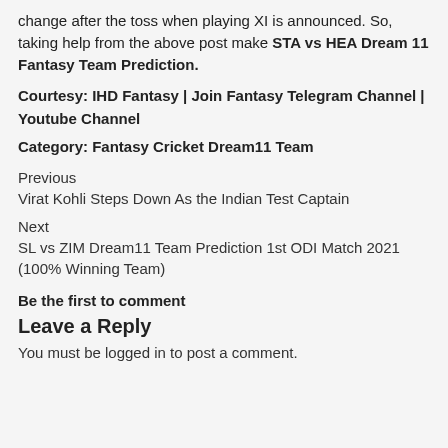change after the toss when playing XI is announced. So, taking help from the above post make STA vs HEA Dream 11 Fantasy Team Prediction.
Courtesy: IHD Fantasy | Join Fantasy Telegram Channel | Youtube Channel
Category: Fantasy Cricket Dream11 Team
Previous
Virat Kohli Steps Down As the Indian Test Captain
Next
SL vs ZIM Dream11 Team Prediction 1st ODI Match 2021 (100% Winning Team)
Be the first to comment
Leave a Reply
You must be logged in to post a comment.